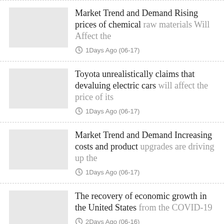Market Trend and Demand Rising prices of chemical raw materials Will Affect the — 1Days Ago (06-17)
Toyota unrealistically claims that devaluing electric cars will affect the price of its — 1Days Ago (06-17)
Market Trend and Demand Increasing costs and product upgrades are driving up the — 1Days Ago (06-17)
The recovery of economic growth in the United States from the COVID-19 — 2Days Ago (06-16)